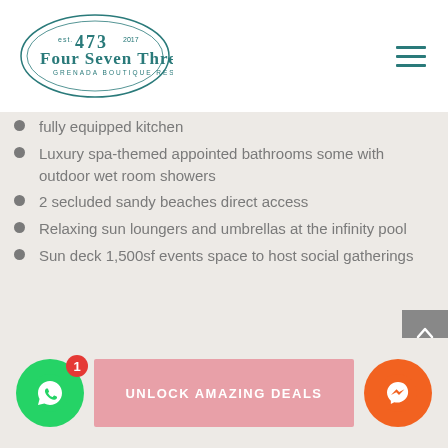Four Seven Three — Grenada Boutique Resort
fully equipped kitchen
Luxury spa-themed appointed bathrooms some with outdoor wet room showers
2 secluded sandy beaches direct access
Relaxing sun loungers and umbrellas at the infinity pool
Sun deck 1,500sf events space to host social gatherings
UNLOCK AMAZING DEALS